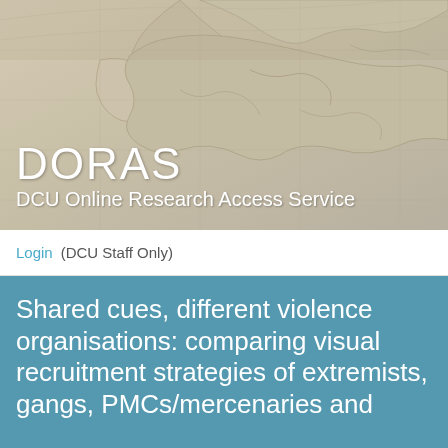[Figure (illustration): DORAS – DCU Online Research Access Service header banner with a vintage world map background in sepia/grey tones showing Europe, Russia and Asia]
DORAS
DCU Online Research Access Service
Login  (DCU Staff Only)
Shared cues, different violence organisations: comparing visual recruitment strategies of extremists, gangs, PMCs/mercenaries and